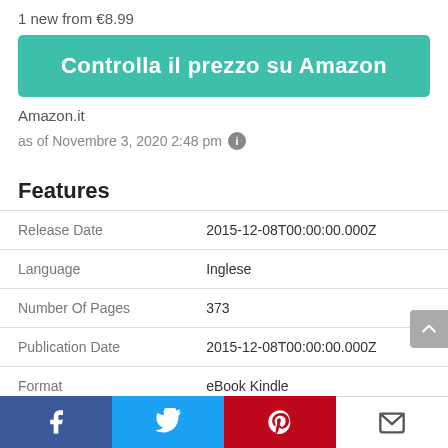1 new from €8.99
Controlla il prezzo su Amazon
Amazon.it
as of Novembre 3, 2020 2:48 pm
Features
|  |  |
| --- | --- |
| Release Date | 2015-12-08T00:00:00.000Z |
| Language | Inglese |
| Number Of Pages | 373 |
| Publication Date | 2015-12-08T00:00:00.000Z |
| Format | eBook Kindle |
Facebook | Twitter | Pinterest | Email